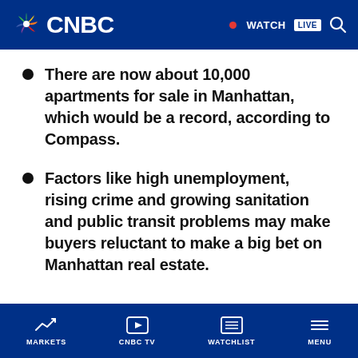CNBC — WATCH LIVE
There are now about 10,000 apartments for sale in Manhattan, which would be a record, according to Compass.
Factors like high unemployment, rising crime and growing sanitation and public transit problems may make buyers reluctant to make a big bet on Manhattan real estate.
[Figure (other): Light gray advertisement/placeholder box]
MARKETS | CNBC TV | WATCHLIST | MENU